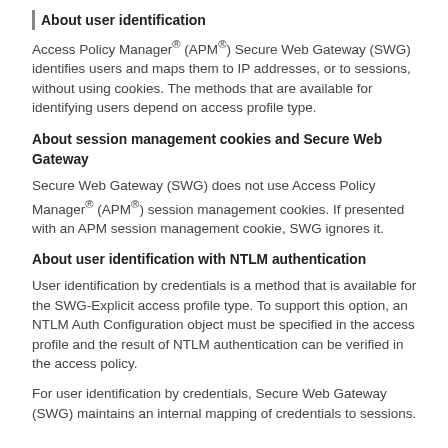About user identification
Access Policy Manager® (APM®) Secure Web Gateway (SWG) identifies users and maps them to IP addresses, or to sessions, without using cookies. The methods that are available for identifying users depend on access profile type.
About session management cookies and Secure Web Gateway
Secure Web Gateway (SWG) does not use Access Policy Manager® (APM®) session management cookies. If presented with an APM session management cookie, SWG ignores it.
About user identification with NTLM authentication
User identification by credentials is a method that is available for the SWG-Explicit access profile type. To support this option, an NTLM Auth Configuration object must be specified in the access profile and the result of NTLM authentication can be verified in the access policy.
For user identification by credentials, Secure Web Gateway (SWG) maintains an internal mapping of credentials to sessions.